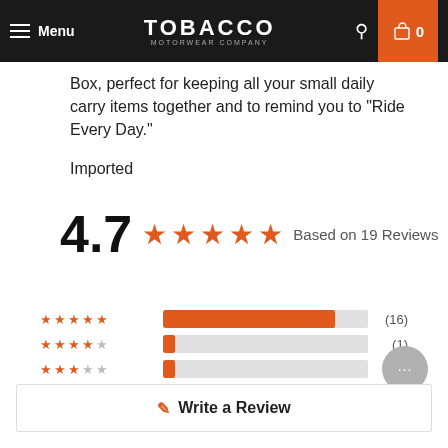Menu | TOBACCO MOTORWEAR COMPANY | 0
Box, perfect for keeping all your small daily carry items together and to remind you to "Ride Every Day."
Imported
[Figure (infographic): 4.7 star rating with 5 filled orange stars and text: Based on 19 Reviews]
[Figure (bar-chart): Rating distribution]
Write a Review